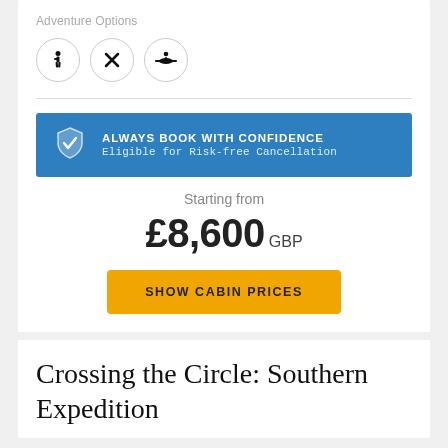Adventure Options
[Figure (illustration): Three circular icon buttons: a person/hiker icon, an X/close icon, and a kayaker/paddler icon]
ALWAYS BOOK WITH CONFIDENCE
Eligible for Risk-free Cancellation
Starting from
£8,600 GBP
SHOW CABIN PRICES
Crossing the Circle: Southern Expedition